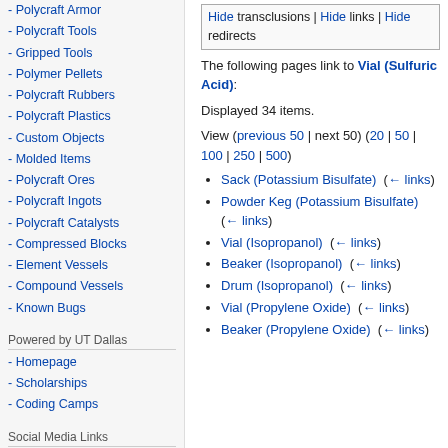- Polycraft Armor
- Polycraft Tools
- Gripped Tools
- Polymer Pellets
- Polycraft Rubbers
- Polycraft Plastics
- Custom Objects
- Molded Items
- Polycraft Ores
- Polycraft Ingots
- Polycraft Catalysts
- Compressed Blocks
- Element Vessels
- Compound Vessels
- Known Bugs
Powered by UT Dallas
- Homepage
- Scholarships
- Coding Camps
Social Media Links
The following pages link to Vial (Sulfuric Acid):
Displayed 34 items.
View (previous 50 | next 50) (20 | 50 | 100 | 250 | 500)
Sack (Potassium Bisulfate)  (← links)
Powder Keg (Potassium Bisulfate)  (← links)
Vial (Isopropanol)  (← links)
Beaker (Isopropanol)  (← links)
Drum (Isopropanol)  (← links)
Vial (Propylene Oxide)  (← links)
Beaker (Propylene Oxide)  (← links)